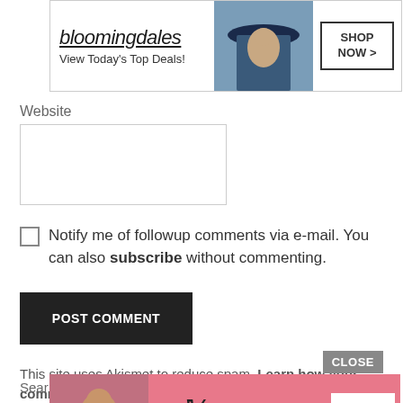[Figure (other): Bloomingdale's advertisement banner: brand name in italic script, tagline 'View Today's Top Deals!', image of woman in hat, 'SHOP NOW >' button in bordered box]
Website
Notify me of followup comments via e-mail. You can also subscribe without commenting.
POST COMMENT
This site uses Akismet to reduce spam. Learn how your comment data is processed.
[Figure (other): Victoria's Secret advertisement banner: model photo on left, VS logo in center, 'SHOP THE COLLECTION' text, 'SHOP NOW' button on right, pink background. CLOSE button visible.]
Sear